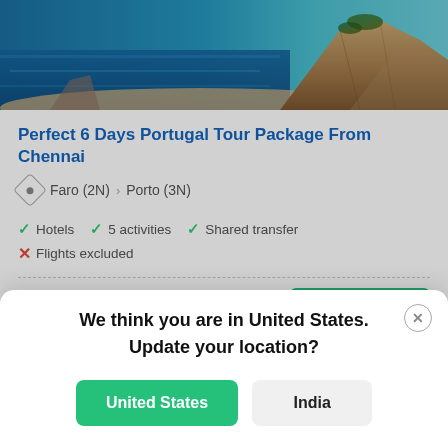[Figure (photo): Coastal scene with blue ocean water and rocky cliffs/beach in the background]
Perfect 6 Days Portugal Tour Package From Chennai
Faro (2N) > Porto (3N)
Hotels  5 activities  Shared transfer
Flights excluded
Starts from
We think you are in United States. Update your location?
United States  India
No of Days | Hotel Ratings | Budget | Talk to us